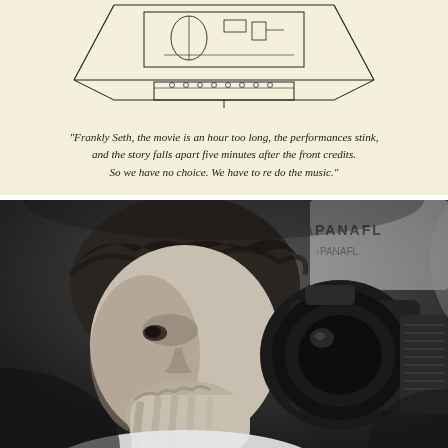[Figure (illustration): Line drawing illustration of a movie screening room or mixing studio with equipment, on a cream/yellow background]
"Frankly Seth, the movie is an hour too long, the performances stink, and the story falls apart five minutes after the front credits. So we have no choice. We have to re do the music."
[Figure (photo): Black and white photograph of a man resting his chin on his hand, looking thoughtfully at a Panavision film camera. The Panaflex logo is visible in the background.]